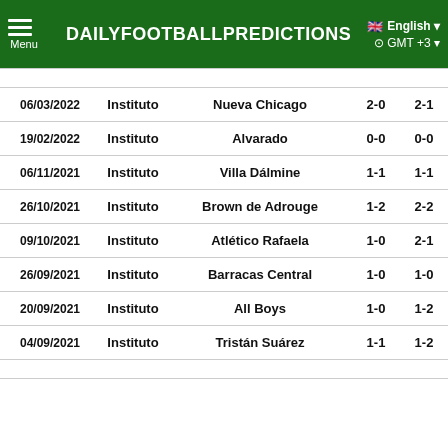DAILYFOOTBALLPREDICTIONS | Menu | English | GMT +3
| Date | Home | Away | HT | FT |
| --- | --- | --- | --- | --- |
| 06/03/2022 | Instituto | Nueva Chicago | 2-0 | 2-1 |
| 19/02/2022 | Instituto | Alvarado | 0-0 | 0-0 |
| 06/11/2021 | Instituto | Villa Dálmine | 1-1 | 1-1 |
| 26/10/2021 | Instituto | Brown de Adrouge | 1-2 | 2-2 |
| 09/10/2021 | Instituto | Atlético Rafaela | 1-0 | 2-1 |
| 26/09/2021 | Instituto | Barracas Central | 1-0 | 1-0 |
| 20/09/2021 | Instituto | All Boys | 1-0 | 1-2 |
| 04/09/2021 | Instituto | Tristán Suárez | 1-1 | 1-2 |